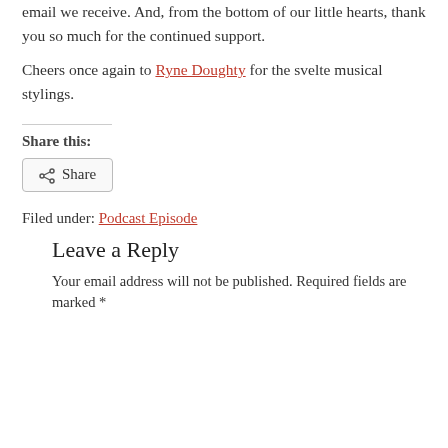thunderclingpodcast@gmail.com. We read and respond to every email we receive. And, from the bottom of our little hearts, thank you so much for the continued support.
Cheers once again to Ryne Doughty for the svelte musical stylings.
Share this:
Share
Filed under: Podcast Episode
Leave a Reply
Your email address will not be published. Required fields are marked *